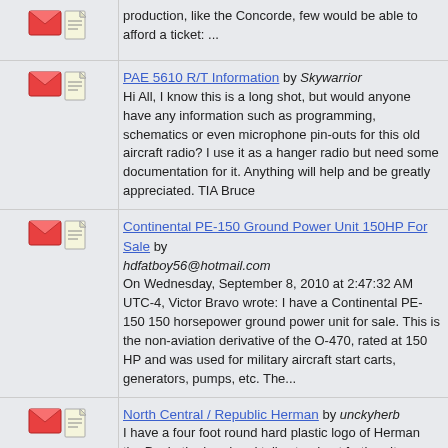production, like the Concorde, few would be able to afford a ticket: ...
PAE 5610 R/T Information by Skywarrior
Hi All, I know this is a long shot, but would anyone have any information such as programming, schematics or even microphone pin-outs for this old aircraft radio? I use it as a hanger radio but need some documentation for it. Anything will help and be greatly appreciated. TIA Bruce
Continental PE-150 Ground Power Unit 150HP For Sale by hdfatboy56@hotmail.com
On Wednesday, September 8, 2010 at 2:47:32 AM UTC-4, Victor Bravo wrote: I have a Continental PE-150 150 horsepower ground power unit for sale. This is the non-aviation derivative of the O-470, rated at 150 HP and was used for military aircraft start carts, generators, pumps, etc. The...
North Central / Republic Herman by unckyherb
I have a four foot round hard plastic logo of Herman the Duck, the head and tail extend out further. It was originally a gate marker ad MSP. I have no idea what it is worth. Make me an offer. Send me an email i will send photo's. Unckyherb.
Req; Dittel FSG-5 Radio Charger by tonytaurusedwards@gmail.com
On Friday, 30 July 1999 09:00:00 UTC+2, Aidan Murphy